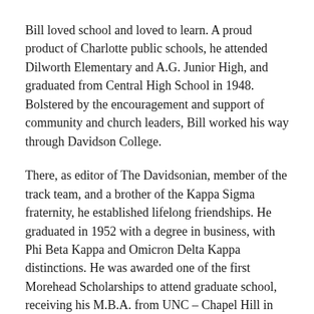Bill loved school and loved to learn. A proud product of Charlotte public schools, he attended Dilworth Elementary and A.G. Junior High, and graduated from Central High School in 1948. Bolstered by the encouragement and support of community and church leaders, Bill worked his way through Davidson College.
There, as editor of The Davidsonian, member of the track team, and a brother of the Kappa Sigma fraternity, he established lifelong friendships. He graduated in 1952 with a degree in business, with Phi Beta Kappa and Omicron Delta Kappa distinctions. He was awarded one of the first Morehead Scholarships to attend graduate school, receiving his M.B.A. from UNC – Chapel Hill in 1953.
He fulfilled his military obligation in the army at Ft.